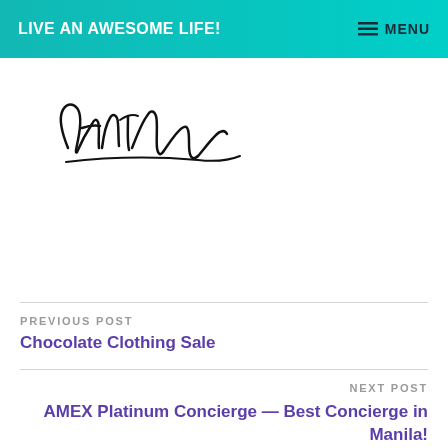LIVE AN AWESOME LIFE!    ≡ MENU
[Figure (illustration): Handwritten cursive signature reading 'Anton' in black ink on white background]
PREVIOUS POST
Chocolate Clothing Sale
NEXT POST
AMEX Platinum Concierge — Best Concierge in Manila!